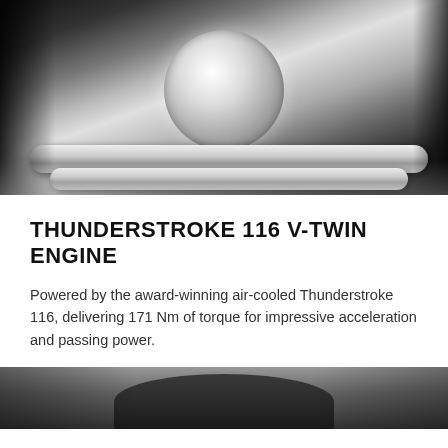[Figure (photo): Close-up photograph of a chrome Indian Thunderstroke V-twin engine showing the cylinder fins, chrome engine casing with Indian Motorcycle logo, and exhaust pipes]
THUNDERSTROKE 116 V-TWIN ENGINE
Powered by the award-winning air-cooled Thunderstroke 116, delivering 171 Nm of torque for impressive acceleration and passing power.
[Figure (photo): Partial view of motorcycle seat and saddlebag area, bottom of page]